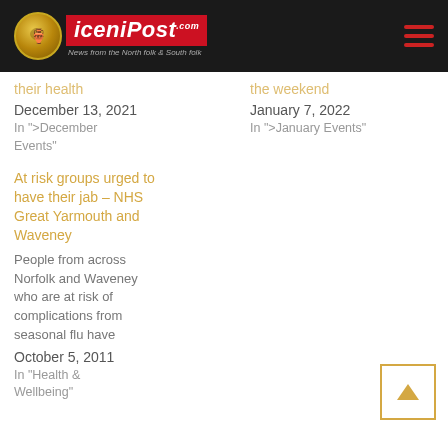iceniPost — News from the North folk & South folk
their health
December 13, 2021
In ">December Events"
the weekend
January 7, 2022
In ">January Events"
At risk groups urged to have their jab – NHS Great Yarmouth and Waveney
People from across Norfolk and Waveney who are at risk of complications from seasonal flu have
October 5, 2011
In "Health & Wellbeing"